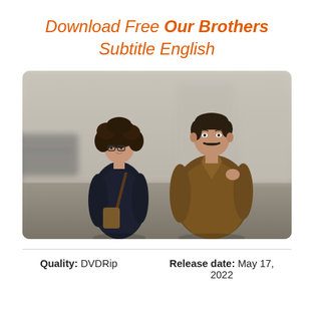Download Free Our Brothers Subtitle English
[Figure (photo): Two people walking on a blurred street. On the left, a young woman with curly hair and glasses wearing a dark navy duffle coat carrying a bag. On the right, a tall man with a moustache wearing a brown overcoat.]
Quality: DVDRip     Release date: May 17, 2022